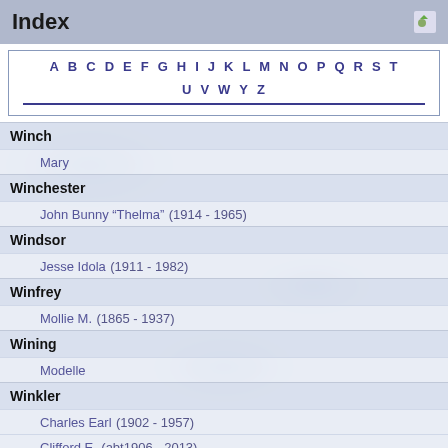Index
A B C D E F G H I J K L M N O P Q R S T U V W Y Z
Winch
Mary
Winchester
John Bunny “Thelma” (1914 - 1965)
Windsor
Jesse Idola (1911 - 1982)
Winfrey
Mollie M. (1865 - 1937)
Wining
Modelle
Winkler
Charles Earl (1902 - 1957)
Clifford E. (abt1906 - 2013)